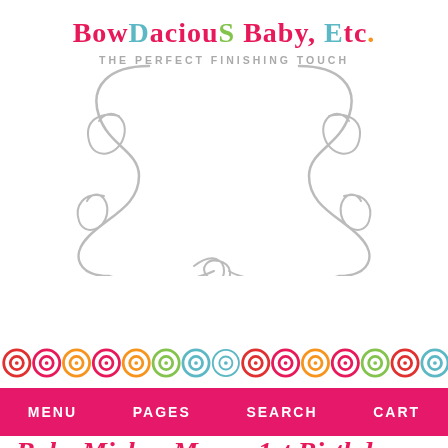[Figure (logo): BowDacious Baby, Etc. logo with colorful text, tagline 'THE PERFECT FINISHING TOUCH' and decorative gray swirl/flourish design]
[Figure (illustration): Horizontal row of colorful concentric circle icons (target/bullseye shapes) in red, pink, orange, green, teal repeating pattern]
MENU   PAGES   SEARCH   CART
Baby Mickey Mouse 1st Birthday Onesie, Boys Birthday Onesie, Boys Mickey